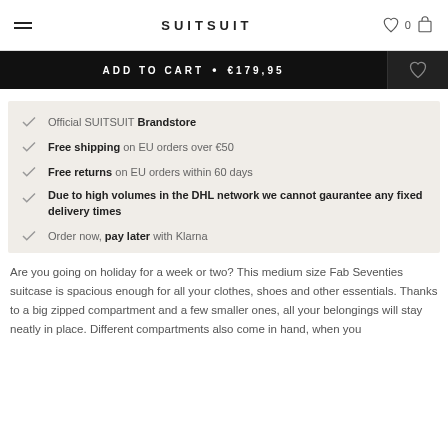SUITSUIT
ADD TO CART • €179,95
Official SUITSUIT Brandstore
Free shipping on EU orders over €50
Free returns on EU orders within 60 days
Due to high volumes in the DHL network we cannot gaurantee any fixed delivery times
Order now, pay later with Klarna
Are you going on holiday for a week or two? This medium size Fab Seventies suitcase is spacious enough for all your clothes, shoes and other essentials. Thanks to a big zipped compartment and a few smaller ones, all your belongings will stay neatly in place. Different compartments also come in hand, when you